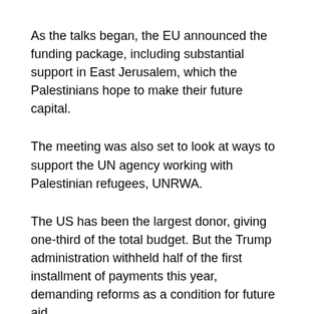As the talks began, the EU announced the funding package, including substantial support in East Jerusalem, which the Palestinians hope to make their future capital.
The meeting was also set to look at ways to support the UN agency working with Palestinian refugees, UNRWA.
The US has been the largest donor, giving one-third of the total budget. But the Trump administration withheld half of the first installment of payments this year, demanding reforms as a condition for future aid.
UNRWA says the move has sparked its biggest ever financial crisis. It's called on donors to speed up their funding, and Switzerland, Finland, Denmark, Sweden, Norway, Germany, Russia, Belgium, Kuwait, the Netherlands and Ireland have